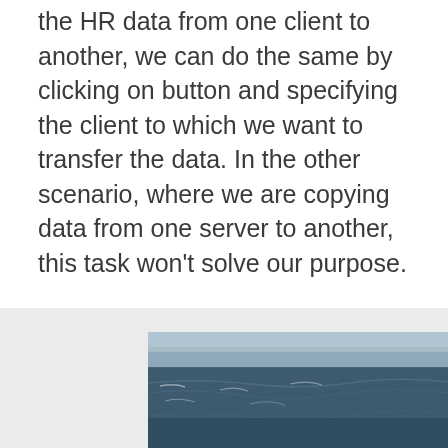the HR data from one client to another, we can do the same by clicking on button and specifying the client to which we want to transfer the data. In the other scenario, where we are copying data from one server to another, this task won't solve our purpose.
[Figure (photo): A close-up photograph of dark blue-grey ocean water with small rippling waves and a cloudy sky in the upper portion. The image has a cool, desaturated tone.]